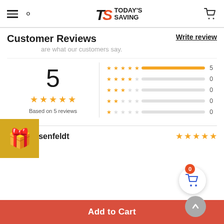Today's Saving - navigation header with hamburger, search, logo, cart
Customer Reviews
Write review
...are what our customers say.
[Figure (infographic): Rating summary showing overall score of 5 based on 5 reviews with 5-star breakdown bars: 5 stars=5, 4 stars=0, 3 stars=0, 2 stars=0, 1 star=0]
Jette Rosenfeldt — 5 stars
Love it! ♥
Add to Cart